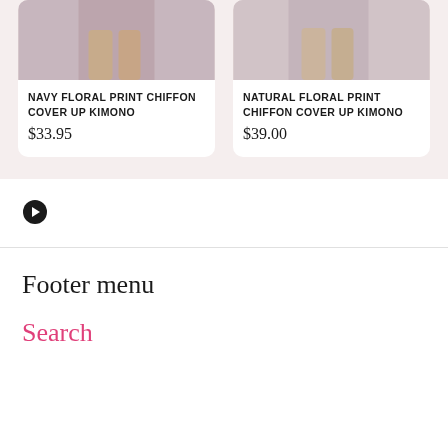[Figure (photo): Product photo of Navy Floral Print Chiffon Cover Up Kimono - partial view showing lower body/legs]
NAVY FLORAL PRINT CHIFFON COVER UP KIMONO
$33.95
[Figure (photo): Product photo of Natural Floral Print Chiffon Cover Up Kimono - partial view showing lower body/legs]
NATURAL FLORAL PRINT CHIFFON COVER UP KIMONO
$39.00
[Figure (other): Right arrow navigation icon (circle with arrow pointing right)]
Footer menu
Search